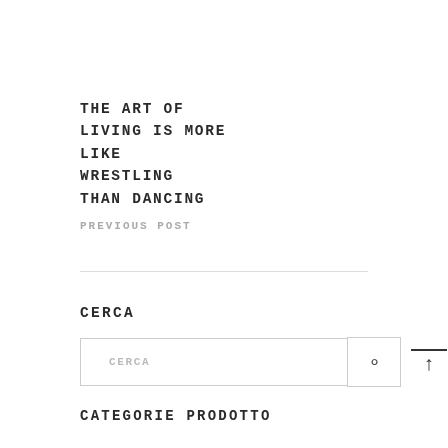THE ART OF LIVING IS MORE LIKE WRESTLING THAN DANCING
PREVIOUS POST
CERCA
CERCA
CATEGORIE PRODOTTO